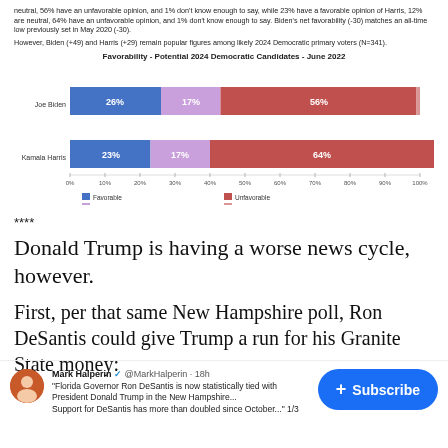neutral, 56% have an unfavorable opinion, and 1% don't know enough to say, while 23% have a favorable opinion of Harris, 12% are neutral, 64% have an unfavorable opinion, and 1% don't know enough to say. Biden's net favorability (-30) matches an all-time low previously set in May 2020 (-30).
However, Biden (+49) and Harris (+29) remain popular figures among likely 2024 Democratic primary voters (N=341).
[Figure (stacked-bar-chart): Favorability - Potential 2024 Democratic Candidates - June 2022]
****
Donald Trump is having a worse news cycle, however.
First, per that same New Hampshire poll, Ron DeSantis could give Trump a run for his Granite State money:
[Figure (screenshot): Tweet from Mark Halperin @MarkHalperin · 18h: "Florida Governor Ron DeSantis is now statistically tied with President Donald Trump in the New Hampshire... Support for DeSantis has more than doubled since October..."]
+ Subscribe